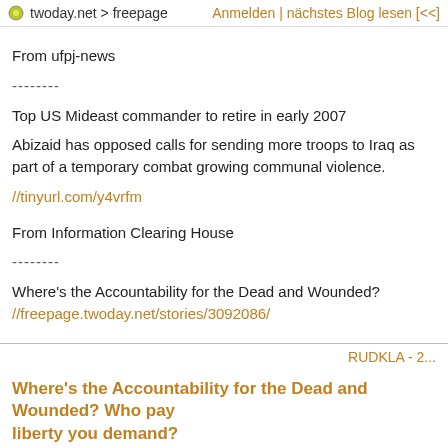twoday.net > freepage   Anmelden | nächstes Blog lesen [<<]
From ufpj-news
--------
Top US Mideast commander to retire in early 2007
Abizaid has opposed calls for sending more troops to Iraq as part of a temporary combat growing communal violence.
//tinyurl.com/y4vrfm
From Information Clearing House
--------
Where's the Accountability for the Dead and Wounded?
//freepage.twoday.net/stories/3092086/
RUDKLA - 2...
Where's the Accountability for the Dead and Wounded? Who pay liberty you demand?